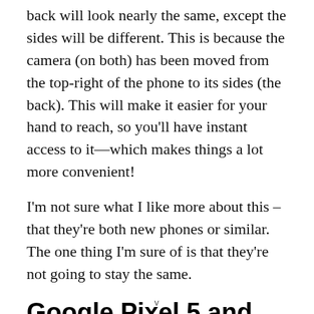back will look nearly the same, except the sides will be different. This is because the camera (on both) has been moved from the top-right of the phone to its sides (the back). This will make it easier for your hand to reach, so you'll have instant access to it—which makes things a lot more convenient!
I'm not sure what I like more about this – that they're both new phones or similar. The one thing I'm sure of is that they're not going to stay the same.
Google Pixel 5 and Google Pixel
v